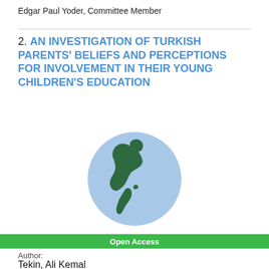Edgar Paul Yoder, Committee Member
2. AN INVESTIGATION OF TURKISH PARENTS' BELIEFS AND PERCEPTIONS FOR INVOLVEMENT IN THEIR YOUNG CHILDREN'S EDUCATION
[Figure (illustration): Globe icon showing North and South America in dark green on a light blue circular background.]
Open Access
Author:
Tekin, Ali Kemal
Title: